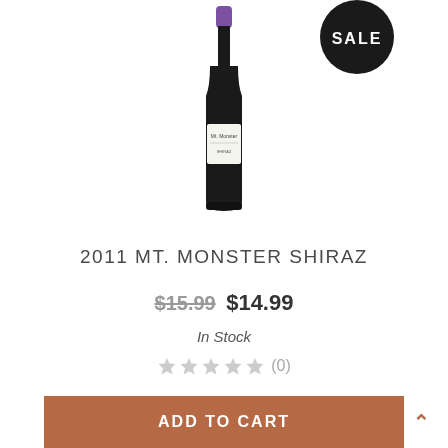[Figure (photo): A wine bottle with a black body, purple foil cap, and white label reading Mt. Monster Shiraz. A circular black badge in the top-right corner reads SALE in white text.]
2011 MT. MONSTER SHIRAZ
$15.99 $14.99
In Stock
★★★★★ (0)
ADD TO CART